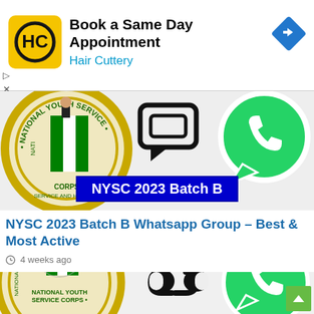[Figure (screenshot): Hair Cuttery ad banner with HC logo, 'Book a Same Day Appointment' text, 'Hair Cuttery' subtitle in blue, and a blue navigation arrow icon on the right.]
[Figure (illustration): NYSC logo (National Youth Service Corps circular emblem with Nigerian flag and torch), a messaging icon, and WhatsApp logo, with a blue banner reading 'NYSC 2023 Batch B'.]
NYSC 2023 Batch B Whatsapp Group – Best & Most Active
4 weeks ago
[Figure (illustration): NYSC National Youth Service Corps circular logo with torch and Nigerian flag, a chain/link icon, and WhatsApp green phone logo. Scroll-to-top arrow button at bottom right.]